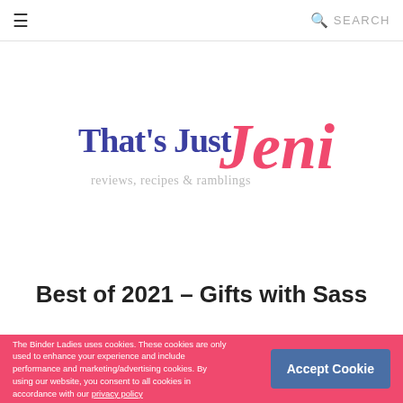☰  SEARCH
[Figure (logo): That's Just Jeni logo — script text reading 'That's Just Jeni' with tagline 'reviews, recipes & ramblings'. 'That's Just' in blue serif, 'Jeni' in large pink script.]
Best of 2021 – Gifts with Sass
The Binder Ladies uses cookies. These cookies are only used to enhance your experience and include performance and marketing/advertising cookies. By using our website, you consent to all cookies in accordance with our privacy policy